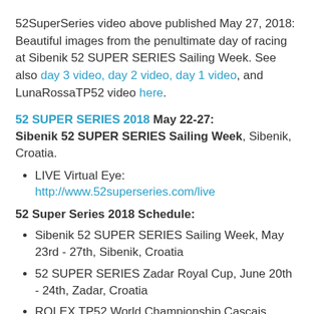52SuperSeries video above published May 27, 2018: Beautiful images from the penultimate day of racing at Sibenik 52 SUPER SERIES Sailing Week. See also day 3 video, day 2 video, day 1 video, and LunaRossaTP52 video here.
52 SUPER SERIES 2018 May 22-27: Sibenik 52 SUPER SERIES Sailing Week, Sibenik, Croatia.
LIVE Virtual Eye: http://www.52superseries.com/live
52 Super Series 2018 Schedule:
Sibenik 52 SUPER SERIES Sailing Week, May 23rd - 27th, Sibenik, Croatia
52 SUPER SERIES Zadar Royal Cup, June 20th - 24th, Zadar, Croatia
ROLEX TP52 World Championship Cascais 2018, July 17th - 21st, Cascais, Portugal
Puerto Portals 52 SUPER SERIES Sailing Week, August 21st - 25th, Mallorca, Spain